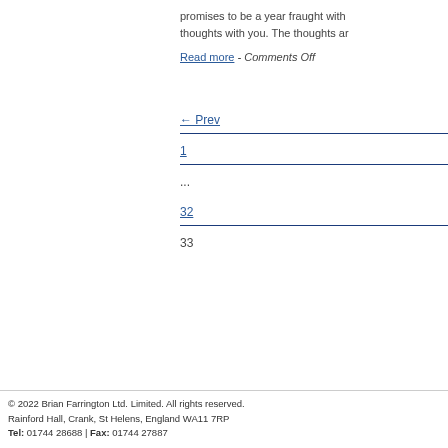promises to be a year fraught with thoughts with you. The thoughts ar
Read more - Comments Off
← Prev
1
...
32
33
© 2022 Brian Farrington Ltd. Limited. All rights reserved.
Rainford Hall, Crank, St Helens, England WA11 7RP
Tel: 01744 28688 | Fax: 01744 27887